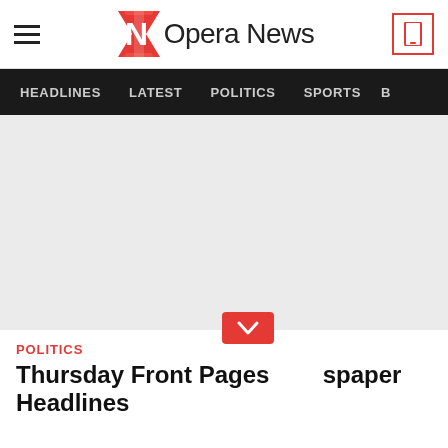Opera News
HEADLINES   LATEST   POLITICS   SPORTS   B
[Figure (photo): Large light gray image placeholder area]
POLITICS
Thursday Front Pages Newspaper Headlines